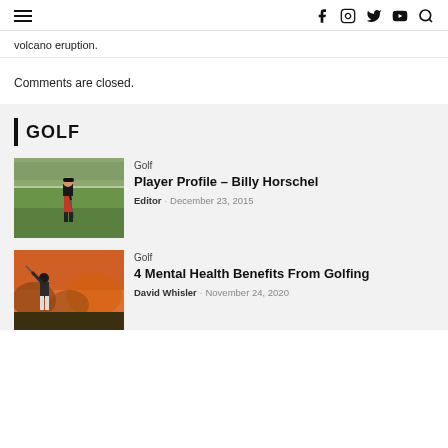≡  f  ⊙  🐦  ▶  🔍
volcano eruption.
Comments are closed.
GOLF
[Figure (photo): Golfer in red pants standing on golf course green with crowd in background]
Golf
Player Profile – Billy Horschel
Editor · December 23, 2015
[Figure (photo): Golfer mid-swing at sunset with autumn foliage background]
Golf
4 Mental Health Benefits From Golfing
David Whisler · November 24, 2020